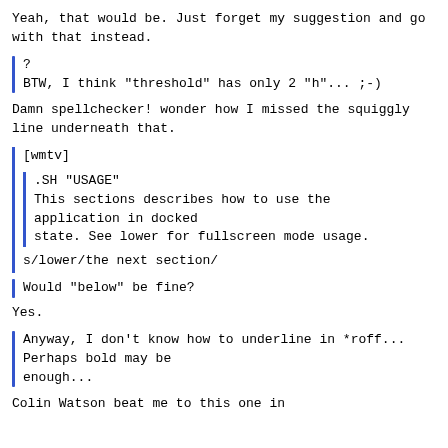Yeah, that would be. Just forget my suggestion and go with that instead.
?
BTW, I think "threshold" has only 2 "h"... ;-)
Damn spellchecker! wonder how I missed the squiggly line underneath that.
[wmtv]
.SH "USAGE"
This sections describes how to use the application in docked state. See lower for fullscreen mode usage.
s/lower/the next section/
Would "below" be fine?
Yes.
Anyway, I don't know how to underline in *roff... Perhaps bold may be enough...
Colin Watson beat me to this one in